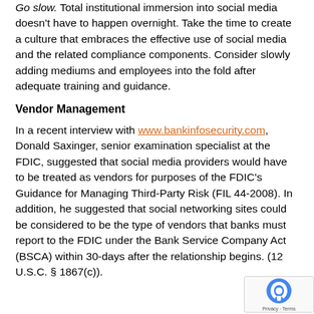Go slow. Total institutional immersion into social media doesn't have to happen overnight. Take the time to create a culture that embraces the effective use of social media and the related compliance components. Consider slowly adding mediums and employees into the fold after adequate training and guidance.
Vendor Management
In a recent interview with www.bankinfosecurity.com, Donald Saxinger, senior examination specialist at the FDIC, suggested that social media providers would have to be treated as vendors for purposes of the FDIC's Guidance for Managing Third-Party Risk (FIL 44-2008). In addition, he suggested that social networking sites could be considered to be the type of vendors that banks must report to the FDIC under the Bank Service Company Act (BSCA) within 30-days after the relationship begins. (12 U.S.C. § 1867(c)).